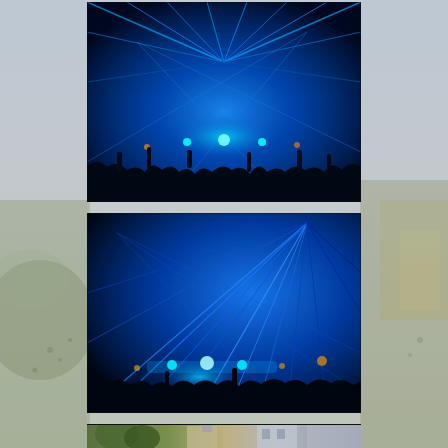[Figure (photo): Background: faded aerial/panoramic photo of a large outdoor festival grounds and landscape, muted gray-blue tones, spanning the full page.]
[Figure (photo): Top center photo: Concert/rave scene with intense blue laser beams radiating across a dark venue, silhouettes of crowd with hands raised in foreground.]
[Figure (photo): Middle center photo: Another concert/rave scene with fan-like pattern of blue laser light beams spreading across a dark venue ceiling, crowd silhouettes below with stage lights.]
[Figure (photo): Bottom center photo (partially visible): Outdoor daytime street scene with trees and buildings, partially cut off at bottom of page.]